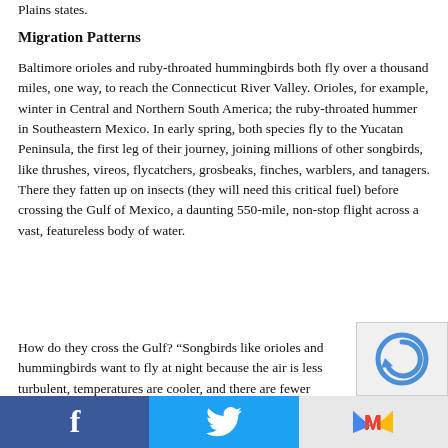Plains states.
Migration Patterns
Baltimore orioles and ruby-throated hummingbirds both fly over a thousand miles, one way, to reach the Connecticut River Valley. Orioles, for example, winter in Central and Northern South America; the ruby-throated hummer in Southeastern Mexico. In early spring, both species fly to the Yucatan Peninsula, the first leg of their journey, joining millions of other songbirds, like thrushes, vireos, flycatchers, grosbeaks, finches, warblers, and tanagers. There they fatten up on insects (they will need this critical fuel) before crossing the Gulf of Mexico, a daunting 550-mile, non-stop flight across a vast, featureless body of water.
How do they cross the Gulf? “Songbirds like orioles and hummingbirds want to fly at night because the air is less turbulent, temperatures are cooler, and there are fewer predators (hawks do not fly at night),” said Ken Elkins, community conservation
Facebook | Twitter | Gmail